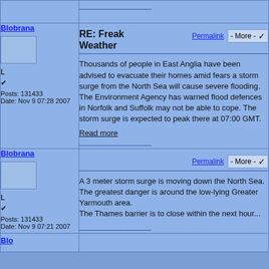Blobrana
L
✔
Posts: 131433
Date: Nov 9 07:28 2007
RE: Freak Weather
Thousands of people in East Anglia have been advised to evacuate their homes amid fears a storm surge from the North Sea will cause severe flooding.
The Environment Agency has warned flood defences in Norfolk and Suffolk may not be able to cope. The storm surge is expected to peak there at 07:00 GMT.
Read more
Blobrana
L
✔
Posts: 131433
Date: Nov 9 07:21 2007
A 3 meter storm surge is moving down the North Sea.
The greatest danger is around the low-lying Greater Yarmouth area.
The Thames barrier is to close within the next hour...